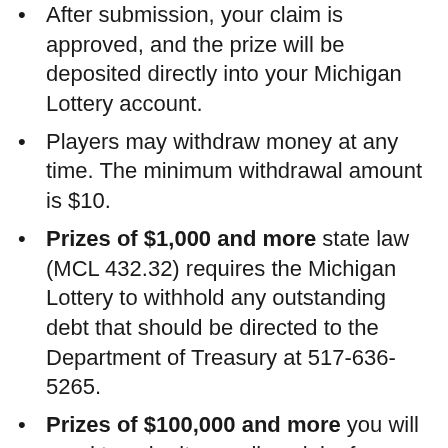After submission, your claim is approved, and the prize will be deposited directly into your Michigan Lottery account.
Players may withdraw money at any time. The minimum withdrawal amount is $10.
Prizes of $1,000 and more state law (MCL 432.32) requires the Michigan Lottery to withhold any outstanding debt that should be directed to the Department of Treasury at 517-636-5265.
Prizes of $100,000 and more you will need to submit an online claim form. After this you will receive an e-mail.
Then visit Lottery headquarters,